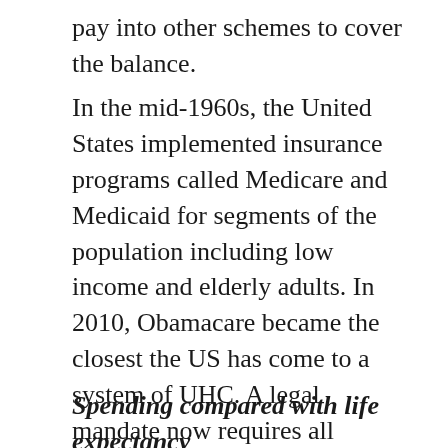pay into other schemes to cover the balance.
In the mid-1960s, the United States implemented insurance programs called Medicare and Medicaid for segments of the population including low income and elderly adults. In 2010, Obamacare became the closest the US has come to a system of UHC. A legal mandate now requires all Americans to have insurance or pay a penalty. About 26 million people remain without health insurance despite these advances.
Spending compared with life expectancy
Life expectancy in the US is still lower than